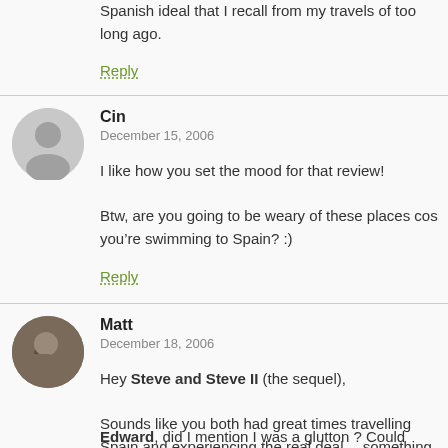Spanish ideal that I recall from my travels of too long ago.
Reply
Cin
December 15, 2006
I like how you set the mood for that review!

Btw, are you going to be weary of these places cos you’re swimming to Spain? :)
Reply
Matt
December 18, 2006
Hey Steve and Steve II (the sequel),

Sounds like you both had great times travelling Spain and experiencing the real deal… something I’d love to do myself at some point. And not that I have anything against pretty boys and girls per se… but a restaurant culture dedicated to their appreciation is not one I want to have to pay for…

Edward, did I mention I was a glutton ? Could have